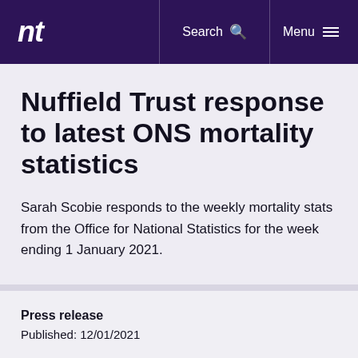nt | Search | Menu
Nuffield Trust response to latest ONS mortality statistics
Sarah Scobie responds to the weekly mortality stats from the Office for National Statistics for the week ending 1 January 2021.
Press release
Published: 12/01/2021